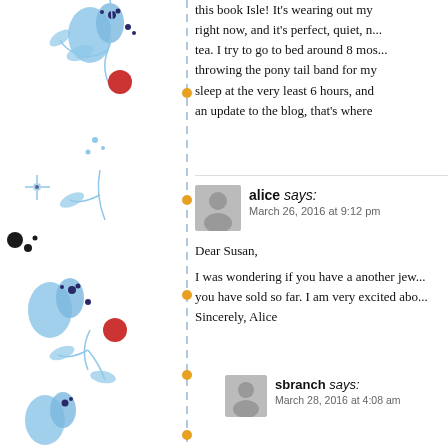this book Isle! It's wearing out my right now, and it's perfect, quiet, n... tea. I try to go to bed around 8 mos... throwing the pony tail band for my sleep at the very least 6 hours, and an update to the blog, that's where
alice says:
March 26, 2016 at 9:12 pm

Dear Susan,

I was wondering if you have a another jew... you have sold so far. I am very excited abo... Sincerely, Alice
sbranch says:
March 28, 2016 at 4:08 am